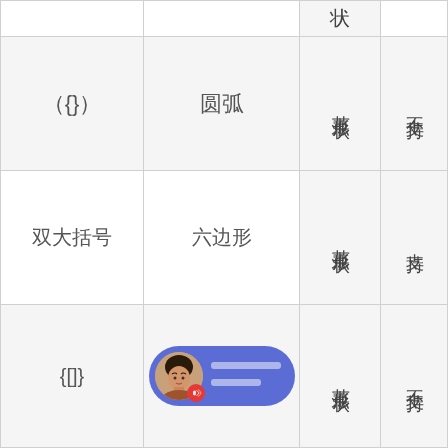| 语法 | 图形 | 节点类型 | 是否支持 |
| --- | --- | --- | --- |
|  |  | 状 |  |
| （{}） | 圆弧 | 节点形状 | 不支持 |
| 双大括号 | 六边形 | 节点形状 | 支持 |
| {[]} | [notification bubble] | 节点形状 | 不支持 |
|  |  | 节 | 不 |